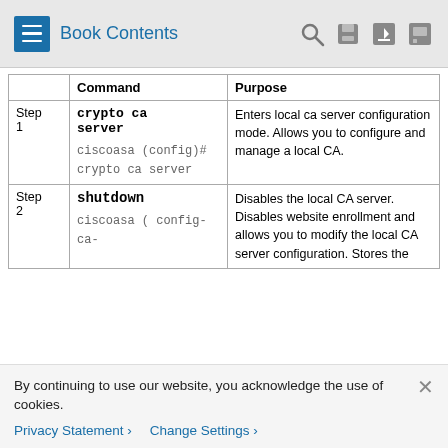Book Contents
|  | Command | Purpose |
| --- | --- | --- |
| Step 1 | crypto ca server
ciscoasa(config)# crypto ca server | Enters local ca server configuration mode. Allows you to configure and manage a local CA. |
| Step 2 | shutdown
ciscoasa ( config-ca- | Disables the local CA server. Disables website enrollment and allows you to modify the local CA server configuration. Stores the |
By continuing to use our website, you acknowledge the use of cookies.
Privacy Statement ›    Change Settings ›